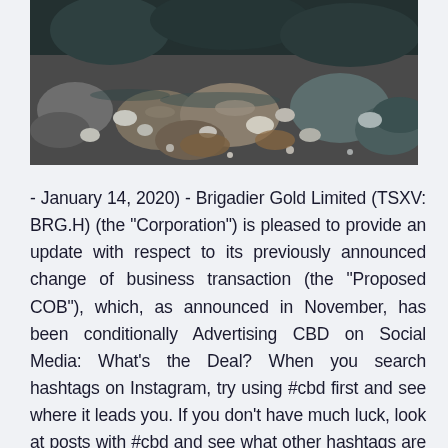[Figure (photo): Outdoor photo of rocky terrain with stones and boulders, some with water or wet surfaces, teal/dark tones]
- January 14, 2020) - Brigadier Gold Limited (TSXV: BRG.H) (the "Corporation") is pleased to provide an update with respect to its previously announced change of business transaction (the "Proposed COB"), which, as announced in November, has been conditionally Advertising CBD on Social Media: What's the Deal? When you search hashtags on Instagram, try using #cbd first and see where it leads you. If you don't have much luck, look at posts with #cbd and see what other hashtags are being used. Click through those hashtags and see if you can find influencers who are posting about CBD products.